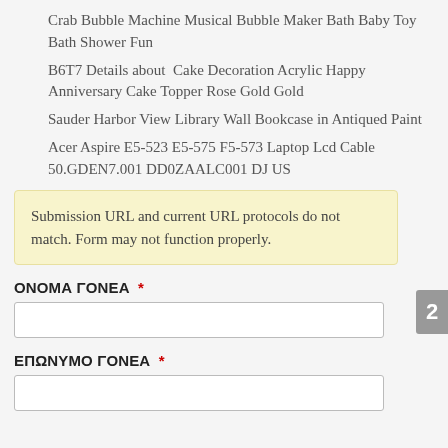Crab Bubble Machine Musical Bubble Maker Bath Baby Toy Bath Shower Fun
B6T7 Details about  Cake Decoration Acrylic Happy Anniversary Cake Topper Rose Gold Gold
Sauder Harbor View Library Wall Bookcase in Antiqued Paint
Acer Aspire E5-523 E5-575 F5-573 Laptop Lcd Cable 50.GDEN7.001 DD0ZAALC001 DJ US
Submission URL and current URL protocols do not match. Form may not function properly.
ΟΝΟΜΑ ΓΟΝΕΑ *
ΕΠΩΝΥΜΟ ΓΟΝΕΑ *